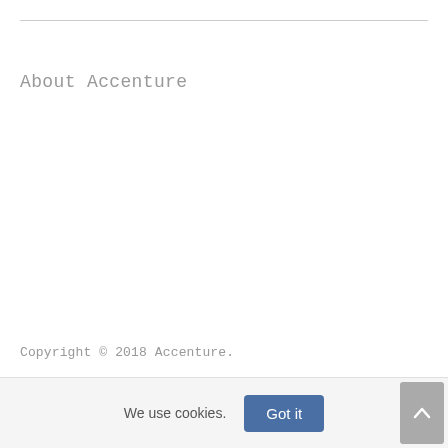About Accenture
Copyright © 2018 Accenture.
We use cookies.
Got it